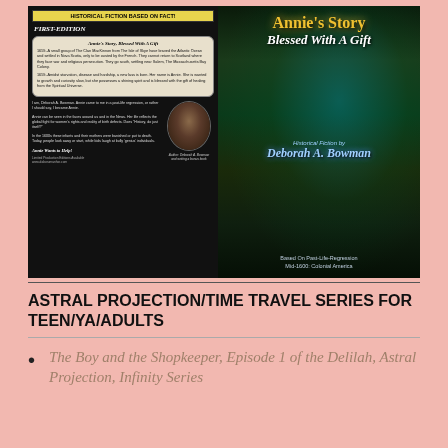[Figure (illustration): Book cover for 'Annie's Story: Blessed With A Gift' by Deborah A. Bowman. Left panel shows black background with yellow 'HISTORICAL FICTION BASED ON FACT!' badge, 'FIRST-EDITION' text, a scroll box with title and story synopsis text, body text paragraphs, author photo of a woman, and 'Annie Wants to Help!' text. Right panel shows a mystical green/blue glowing forest scene with the title 'Annie's Story' in gold, 'Blessed With A Gift' in white italic, 'Historical Fiction by Deborah A. Bowman' in blue, and 'Based On Past-Life-Regression Mid-1600: Colonial America' text.]
ASTRAL PROJECTION/TIME TRAVEL SERIES FOR TEEN/YA/ADULTS
The Boy and the Shopkeeper, Episode 1 of the Delilah, Astral Projection, Infinity Series